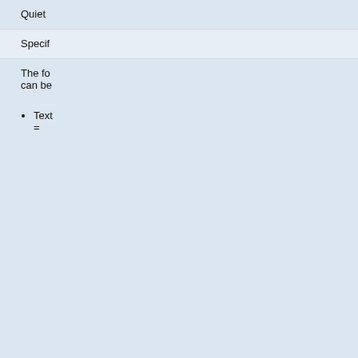| Parameter | Description |
| --- | --- |
| quietsave | Quiet... |
| header | Specif... |
| format | The fo... can be...
• Text = |
Example:
%EDITTABLE{ format="| text, 20 | select, 1, one, two, three |"